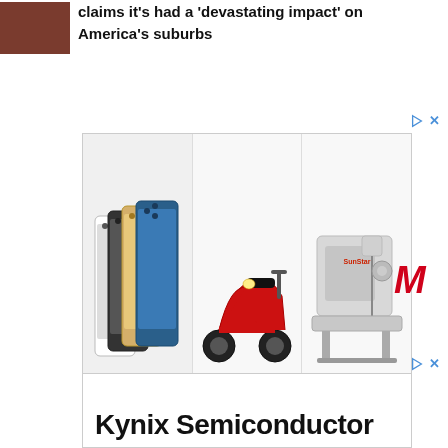claims it's had a 'devastating impact' on America's suburbs
[Figure (photo): Advertisement banner with three product images: iPhone 12 Pro models in multiple colors, a red motor scooter, and an industrial sewing machine (SunStar brand). A red stylized M logo appears to the right.]
[Figure (advertisement): Advertisement banner for Kynix Semiconductor showing company name text at bottom of a mostly white/empty banner.]